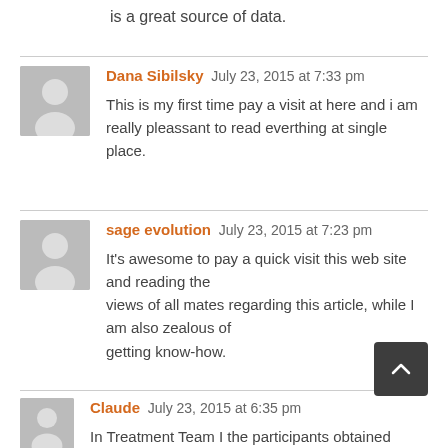is a great source of data.
Dana Sibilsky  July 23, 2015 at 7:33 pm
This is my first time pay a visit at here and i am really pleassant to read everthing at single place.
sage evolution  July 23, 2015 at 7:23 pm
It's awesome to pay a quick visit this web site and reading the views of all mates regarding this article, while I am also zealous of getting know-how.
Claude  July 23, 2015 at 6:35 pm
In Treatment Team I the participants obtained